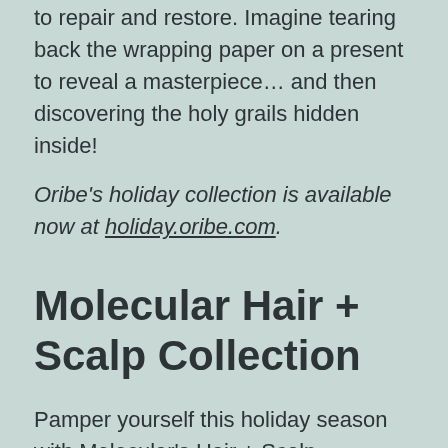to repair and restore. Imagine tearing back the wrapping paper on a present to reveal a masterpiece… and then discovering the holy grails hidden inside!
Oribe's holiday collection is available now at holiday.oribe.com.
Molecular Hair + Scalp Collection
Pamper yourself this holiday season with Molecular's Hair + Scalp Collection. Dr.